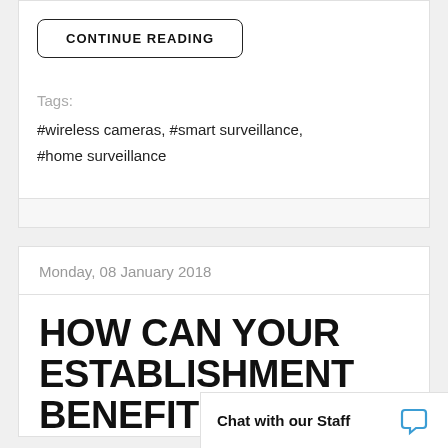CONTINUE READING
Tags:
#wireless cameras, #smart surveillance, #home surveillance
Monday, 08 January 2018
HOW CAN YOUR ESTABLISHMENT BENEFIT
Chat with our Staff